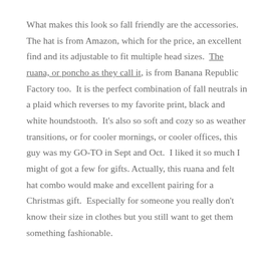What makes this look so fall friendly are the accessories.  The hat is from Amazon, which for the price, an excellent find and its adjustable to fit multiple head sizes.  The ruana, or poncho as they call it, is from Banana Republic Factory too.  It is the perfect combination of fall neutrals in a plaid which reverses to my favorite print, black and white houndstooth.  It's also so soft and cozy so as weather transitions, or for cooler mornings, or cooler offices, this guy was my GO-TO in Sept and Oct.  I liked it so much I might of got a few for gifts. Actually, this ruana and felt hat combo would make and excellent pairing for a Christmas gift.  Especially for someone you really don't know their size in clothes but you still want to get them something fashionable.